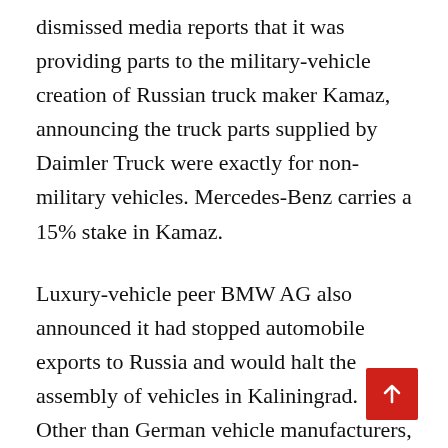dismissed media reports that it was providing parts to the military-vehicle creation of Russian truck maker Kamaz, announcing the truck parts supplied by Daimler Truck were exactly for non-military vehicles. Mercedes-Benz carries a 15% stake in Kamaz.
Luxury-vehicle peer BMW AG also announced it had stopped automobile exports to Russia and would halt the assembly of vehicles in Kaliningrad. Other than German vehicle manufacturers, French peer Renault SA has announced it temporarily shut a plant near Moscow, referring to logistical difficulties.